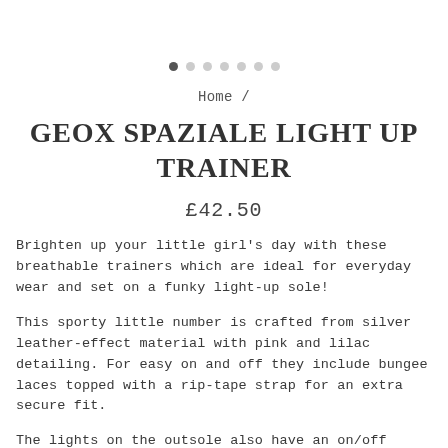[Figure (other): Carousel navigation dots — one filled dark dot followed by six light grey dots]
Home /
GEOX SPAZIALE LIGHT UP TRAINER
£42.50
Brighten up your little girl's day with these breathable trainers which are ideal for everyday wear and set on a funky light-up sole!
This sporty little number is crafted from silver leather-effect material with pink and lilac detailing. For easy on and off they include bungee laces topped with a rip-tape strap for an extra secure fit.
The lights on the outsole also have an on/off switch making these fantastic trainers truly versatile: eye-catching for the